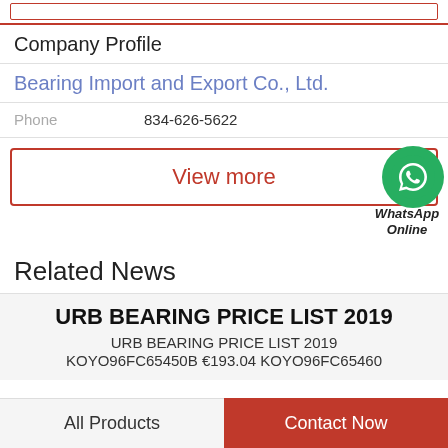Company Profile
Bearing Import and Export Co., Ltd.
Phone  834-626-5622
View more
WhatsApp Online
Related News
URB BEARING PRICE LIST 2019
URB BEARING PRICE LIST 2019 KOYO96FC65450B €193.04 KOYO96FC65460
All Products   Contact Now